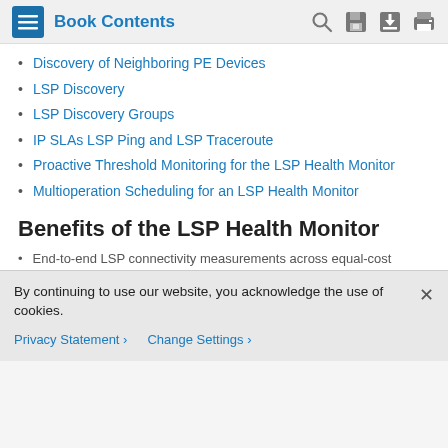Book Contents
Discovery of Neighboring PE Devices
LSP Discovery
LSP Discovery Groups
IP SLAs LSP Ping and LSP Traceroute
Proactive Threshold Monitoring for the LSP Health Monitor
Multioperation Scheduling for an LSP Health Monitor
Benefits of the LSP Health Monitor
End-to-end LSP connectivity measurements across equal-cost multipaths for determining network availability or testing network connectivity in MPLS networks
Proactive threshold monitoring through SNMP trap
By continuing to use our website, you acknowledge the use of cookies.
Privacy Statement > Change Settings >